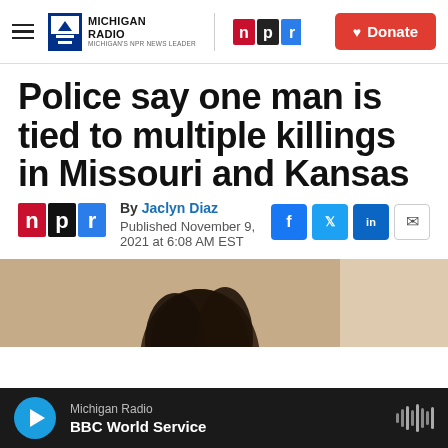Michigan Radio | npr | Donate
Police say one man is tied to multiple killings in Missouri and Kansas
By Jaclyn Diaz
Published November 9, 2021 at 6:08 AM EST
[Figure (photo): Partial view of a person's head/hair, sepia-toned photo, partially visible]
Michigan Radio
BBC World Service